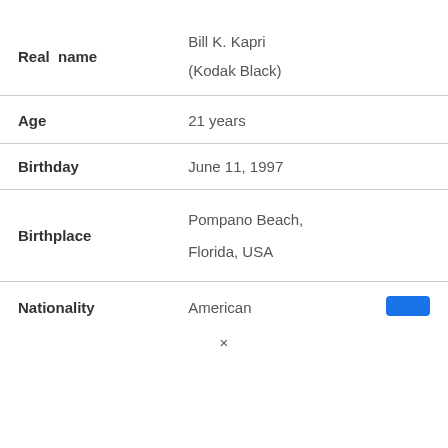| Field | Value |
| --- | --- |
| Real name | Bill K. Kapri
(Kodak Black) |
| Age | 21 years |
| Birthday | June 11, 1997 |
| Birthplace | Pompano Beach, Florida, USA |
| Nationality | American |